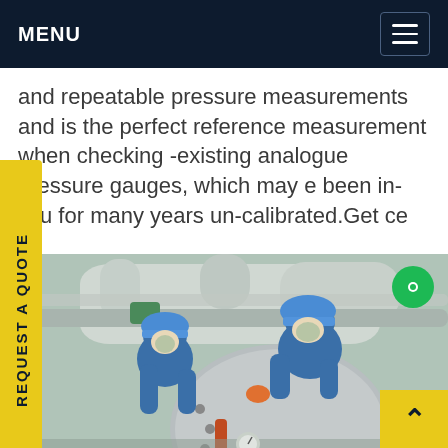MENU
and repeatable pressure measurements and is the perfect reference measurement when checking -existing analogue pressure gauges, which may e been in-situ for many years un-calibrated.Get ce
REQUEST A QUOTE
[Figure (photo): Two workers in blue overalls and blue hard hats working on industrial pipe fittings and pressure equipment at an industrial facility.]